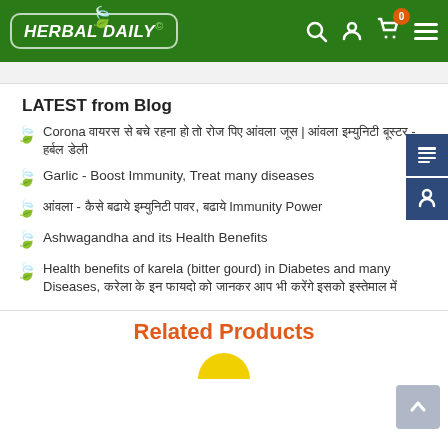HERBAL DAILY - header navigation with logo, search, account, cart (0), menu icons
LATEST from Blog
Corona वायरस से बचे रहना हो तो रोज पिए आंवला जूस | आंवला इम्युनिटी बूस्टर - हर्बल डेली
Garlic - Boost Immunity, Treat many diseases
आंवला - कैसे बढाये इम्युनिटी पावर, बढाये Immunity Power
Ashwagandha and its Health Benefits
Health benefits of karela (bitter gourd) in Diabetes and many Diseases, करेला के इन फायदो को जानकर आप भी करेंगे इसको इस्तेमाल में
Related Products
[Figure (other): Partial product image (yellow circular shape) at bottom of page below Related Products heading]